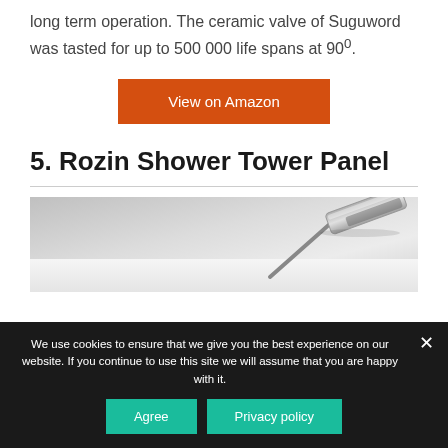long term operation. The ceramic valve of Suguword was tasted for up to 500 000 life spans at 90°.
View on Amazon
5. Rozin Shower Tower Panel
[Figure (photo): Photo of a Rozin shower tower panel head, showing a rectangular rain shower head in silver/chrome, mounted at an angle against a light grey wall and white surface.]
We use cookies to ensure that we give you the best experience on our website. If you continue to use this site we will assume that you are happy with it.
Agree
Privacy policy